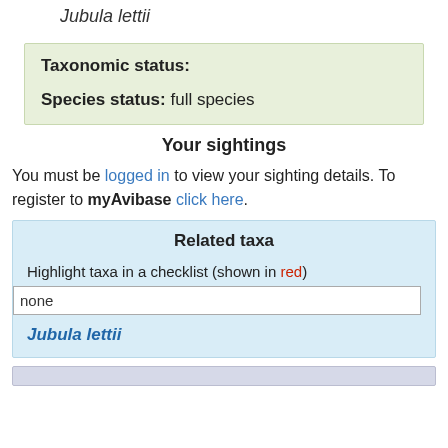Jubula lettii
Taxonomic status:
Species status: full species
Your sightings
You must be logged in to view your sighting details. To register to myAvibase click here.
Related taxa
Highlight taxa in a checklist (shown in red)
none
Jubula lettii